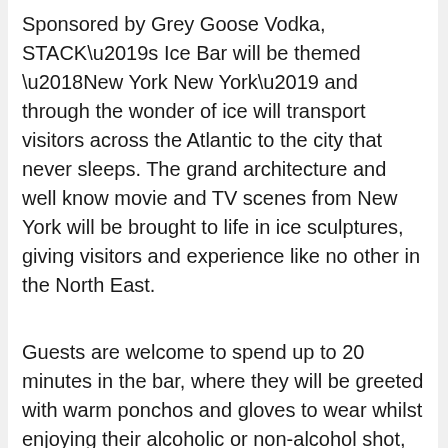Sponsored by Grey Goose Vodka, STACK’s Ice Bar will be themed ‘New York New York’ and through the wonder of ice will transport visitors across the Atlantic to the city that never sleeps. The grand architecture and well know movie and TV scenes from New York will be brought to life in ice sculptures, giving visitors and experience like no other in the North East.
Guests are welcome to spend up to 20 minutes in the bar, where they will be greeted with warm ponchos and gloves to wear whilst enjoying their alcoholic or non-alcohol shot, presented in a real ice glass. The sub-zero container will be decorated with many New York themed ice sculptures, sculpted by the company that